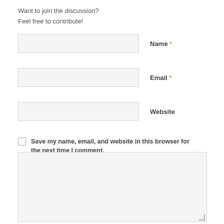Want to join the discussion?
Feel free to contribute!
Name *
Email *
Website
Save my name, email, and website in this browser for the next time I comment.